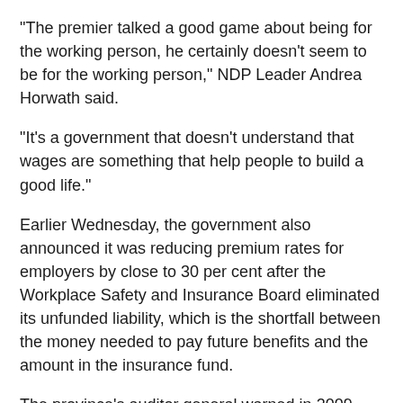"The premier talked a good game about being for the working person, he certainly doesn't seem to be for the working person," NDP Leader Andrea Horwath said.
"It's a government that doesn't understand that wages are something that help people to build a good life."
Earlier Wednesday, the government also announced it was reducing premium rates for employers by close to 30 per cent after the Workplace Safety and Insurance Board eliminated its unfunded liability, which is the shortfall between the money needed to pay future benefits and the amount in the insurance fund.
The province's auditor general warned in 2009 that the shortfall could put the board in a position where it could not meet its obligations to workers. Most of the work to pay down the unfunded liability was done while the Liberals were in power.